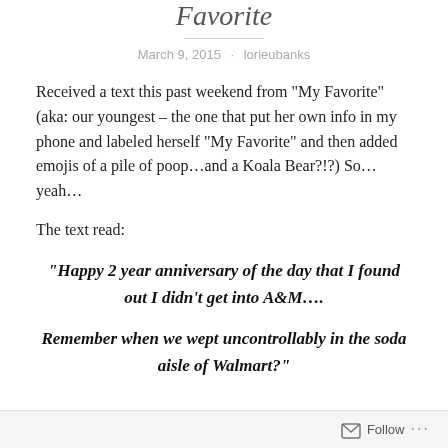Favorite
March 9, 2015 · lorieubanks
Received a text this past weekend from “My Favorite” (aka: our youngest – the one that put her own info in my phone and labeled herself “My Favorite” and then added emojis of a pile of poop…and a Koala Bear?!?) So…yeah…
The text read:
“Happy 2 year anniversary of the day that I found out I didn’t get into A&M….

Remember when we wept uncontrollably in the soda aisle of Walmart?”
Follow